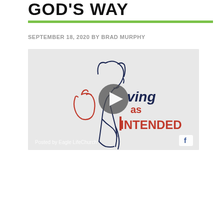GOD'S WAY
SEPTEMBER 18, 2020 BY BRAD MURPHY
[Figure (screenshot): Video thumbnail showing a Facebook video post from Eagle LifeChurch. The image contains a stylized illustration of a woman's profile in dark blue outline, a red apple outline, and text reading 'Living as INTENDED' in navy and red. A circular gray play button is overlaid in the center. Text at the bottom reads 'Posted by Eagle LifeChurch' with a Facebook icon badge at bottom right.]